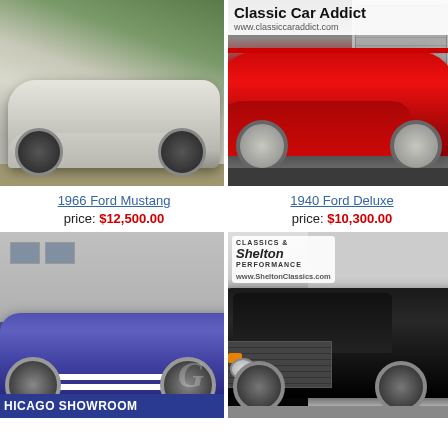[Figure (photo): 1966 Ford Mustang, silver/white, parked outdoors with trees in background]
[Figure (photo): 1940 Ford Deluxe, bright red classic car in showroom, with Classic Car Addict logo overlay]
1966 Ford Mustang
price: $12,500.00
1940 Ford Deluxe
price: $10,300.00
[Figure (photo): Purple Shelby Cobra replica convertible at Chicago Showroom]
[Figure (photo): Black classic truck/pickup at Shelton Classics & Performance dealership]